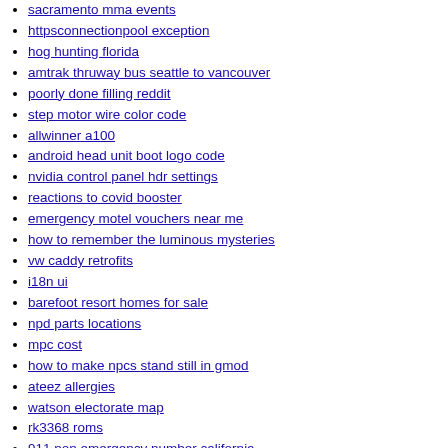sacramento mma events
httpsconnectionpool exception
hog hunting florida
amtrak thruway bus seattle to vancouver
poorly done filling reddit
step motor wire color code
allwinner a100
android head unit boot logo code
nvidia control panel hdr settings
reactions to covid booster
emergency motel vouchers near me
how to remember the luminous mysteries
vw caddy retrofits
i18n ui
barefoot resort homes for sale
npd parts locations
mpc cost
how to make npcs stand still in gmod
ateez allergies
watson electorate map
rk3368 roms
911 non emergency number california
export was not found in typescript
johnson outboard serial number chart
property for sale monticello iowa